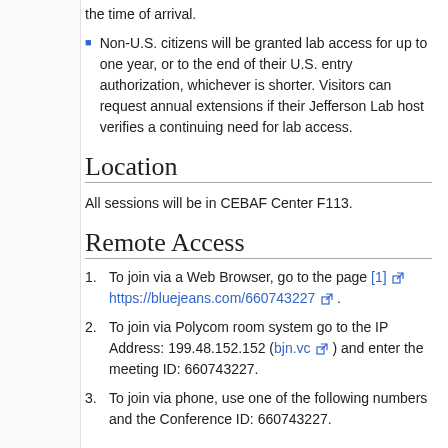the time of arrival.
Non-U.S. citizens will be granted lab access for up to one year, or to the end of their U.S. entry authorization, whichever is shorter. Visitors can request annual extensions if their Jefferson Lab host verifies a continuing need for lab access.
Location
All sessions will be in CEBAF Center F113.
Remote Access
To join via a Web Browser, go to the page [1] https://bluejeans.com/660743227 .
To join via Polycom room system go to the IP Address: 199.48.152.152 (bjn.vc) and enter the meeting ID: 660743227.
To join via phone, use one of the following numbers and the Conference ID: 660743227.